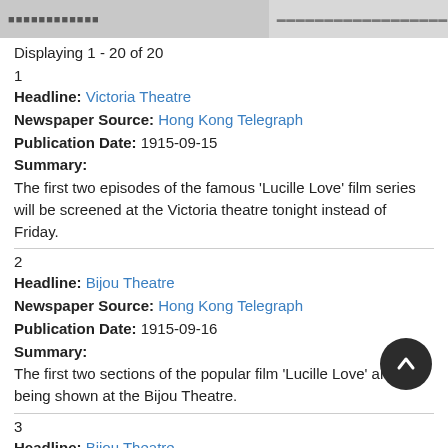[Figure (screenshot): Partial scanned newspaper image at top of page, split into two sections]
Displaying 1 - 20 of 20
1
Headline: Victoria Theatre
Newspaper Source: Hong Kong Telegraph
Publication Date: 1915-09-15
Summary:
The first two episodes of the famous 'Lucille Love' film series will be screened at the Victoria theatre tonight instead of Friday.
2
Headline: Bijou Theatre
Newspaper Source: Hong Kong Telegraph
Publication Date: 1915-09-16
Summary:
The first two sections of the popular film 'Lucille Love' are being shown at the Bijou Theatre.
3
Headline: Bijou Theatre
Newspaper Source: Hong Kong Telegraph